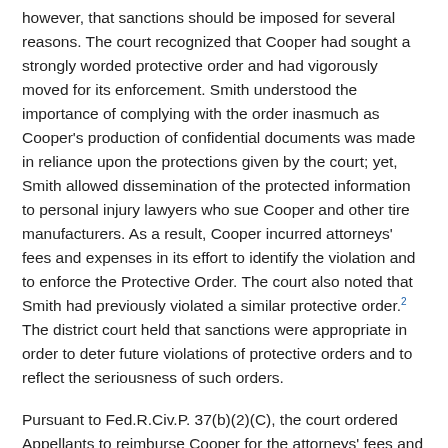however, that sanctions should be imposed for several reasons. The court recognized that Cooper had sought a strongly worded protective order and had vigorously moved for its enforcement. Smith understood the importance of complying with the order inasmuch as Cooper's production of confidential documents was made in reliance upon the protections given by the court; yet, Smith allowed dissemination of the protected information to personal injury lawyers who sue Cooper and other tire manufacturers. As a result, Cooper incurred attorneys' fees and expenses in its effort to identify the violation and to enforce the Protective Order. The court also noted that Smith had previously violated a similar protective order.² The district court held that sanctions were appropriate in order to deter future violations of protective orders and to reflect the seriousness of such orders.
Pursuant to Fed.R.Civ.P. 37(b)(2)(C), the court ordered Appellants to reimburse Cooper for the attorneys' fees and